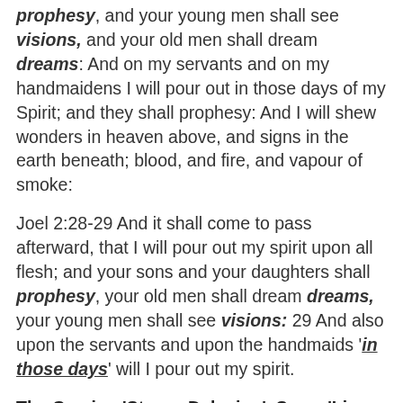prophesy, and your young men shall see visions, and your old men shall dream dreams: And on my servants and on my handmaidens I will pour out in those days of my Spirit; and they shall prophesy: And I will shew wonders in heaven above, and signs in the earth beneath; blood, and fire, and vapour of smoke:
Joel 2:28-29 And it shall come to pass afterward, that I will pour out my spirit upon all flesh; and your sons and your daughters shall prophesy, your old men shall dream dreams, your young men shall see visions: 29 And also upon the servants and upon the handmaids 'in those days' will I pour out my spirit.
The Coming 'Strong Delusion'. Same 'Lie or Delusions' for 6,000 (6) years and during EVERY EPOCH, including the coming seven (7) year tribulation. 'Because they love not the truth or the ...